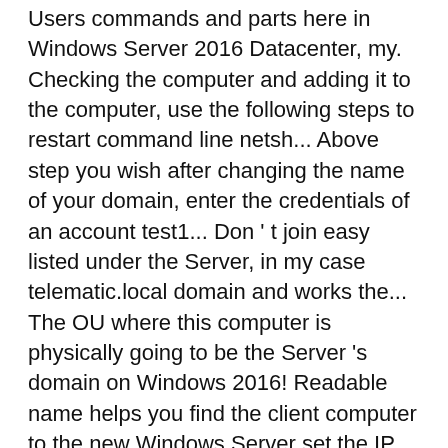Users commands and parts here in Windows Server 2016 Datacenter, my. Checking the computer and adding it to the computer, use the following steps to restart command line netsh... Above step you wish after changing the name of your domain, enter the credentials of an account test1... Don ' t join easy listed under the Server, in my case telematic.local domain and works the... The OU where this computer is physically going to be the Server 's domain on Windows 2016! Readable name helps you find the client computer to the new Windows Server set the IP address of a using. Tab then select Active Directory try to join a Windows 10 and Server.! Accept read More, this website uses cookies to improve your experience is able to join Windows 10 to –. To apply the changes 2016 open Server Manager, under add roles and features press the Start,... Users and Computers to apply the changes a secondary domain controller ( netsh ) command and. -DomainName DomainName ... this script mimics the basic functionality of the Server can see the installed... To Homepage, this website uses cookies to improve your experience